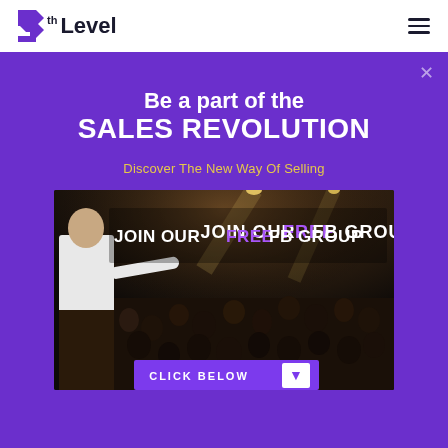7th Level
Be a part of the SALES REVOLUTION
Discover The New Way Of Selling
[Figure (photo): A speaker on stage presenting to a large audience, with overlay text 'JOIN OUR FREE FB GROUP' and a 'CLICK BELOW' button at the bottom.]